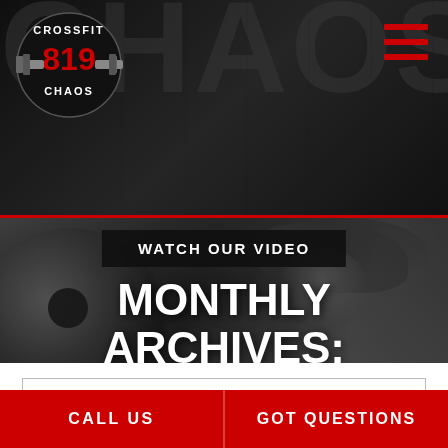CrossFit 819 Chaos
WATCH OUR VIDEO
MONTHLY ARCHIVES: DECEMBER 2018
Select Category
CALL US
GOT QUESTIONS